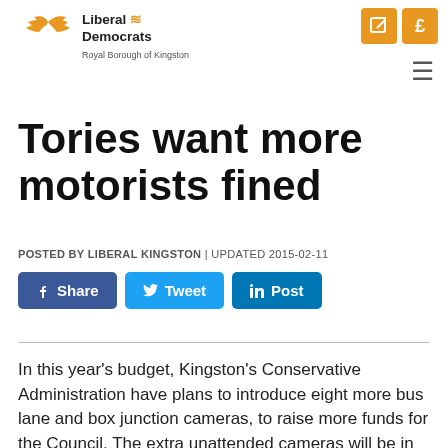[Figure (logo): Liberal Democrats Royal Borough of Kingston logo with bird/flame motif]
Tories want more motorists fined
POSTED BY LIBERAL KINGSTON | UPDATED 2015-02-11
[Figure (infographic): Social share buttons: Facebook Share, Twitter Tweet, LinkedIn Post]
In this year's budget, Kingston's Conservative Administration have plans to introduce eight more bus lane and box junction cameras, to raise more funds for the Council. The extra unattended cameras will be in locations where frequent contraventions take place, to generate the